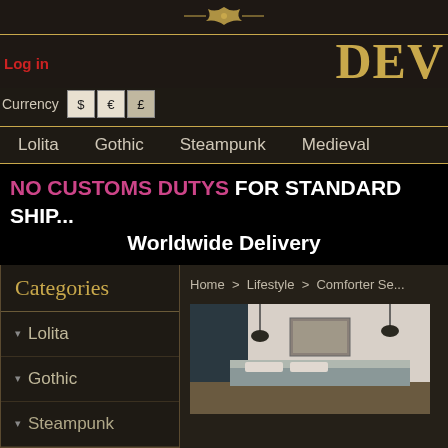[Figure (screenshot): Decorative ornament divider in gold]
Log in | Currency $ € £ | DEV (brand logo)
Navigation: Lolita | Gothic | Steampunk | Medieval
NO CUSTOMS DUTYS FOR STANDARD SHIP... Worldwide Delivery
Categories
Lolita
Gothic
Steampunk
Home > Lifestyle > Comforter Se...
[Figure (photo): Bedroom scene with dark teal walls, pendant lights, and decorative items on wall]